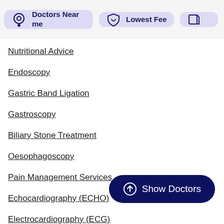[Figure (screenshot): Top navigation bar with filter buttons: 'Doctors Near me' with location pin icon, 'Lowest Fee' with shield icon, and a partially visible third button — all on light purple pill-shaped cards]
Nutritional Advice
Endoscopy
Gastric Band Ligation
Gastroscopy
Biliary Stone Treatment
Oesophagoscopy
Pain Management Services
Echocardiography (ECHO)
Electrocardiography (ECG)
Endoscopic Surgeries
[Figure (other): Dark navy blue 'Show Doctors' button with upward arrow icon in a circle, positioned bottom right]